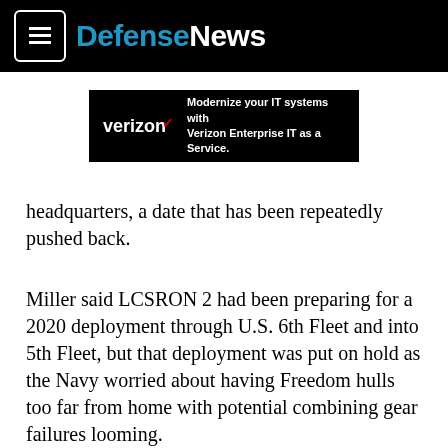DefenseNews
[Figure (other): Verizon advertisement banner: 'Modernize your IT systems with Verizon Enterprise IT as a Service.']
headquarters, a date that has been repeatedly pushed back.
Miller said LCSRON 2 had been preparing for a 2020 deployment through U.S. 6th Fleet and into 5th Fleet, but that deployment was put on hold as the Navy worried about having Freedom hulls too far from home with potential combining gear failures looming.